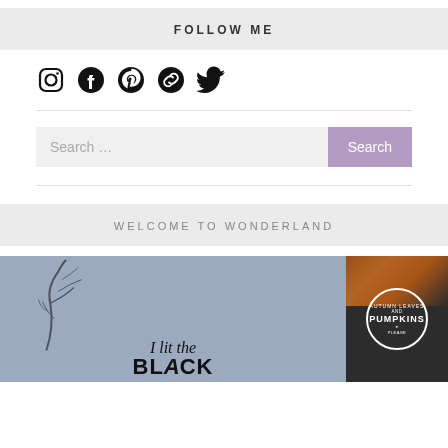FOLLOW ME
[Figure (illustration): Row of social media icons: Instagram, Facebook, Pinterest, link/chain, Twitter]
WELCOME TO WONDERLAND
[Figure (photo): Two product photos side by side: left shows a grey sweatshirt with cursive text 'I lit the BLACK' with tree branch overlay; right shows a black shirt with a circular badge logo reading 'PUMPKINS' with autumn leaves in background]